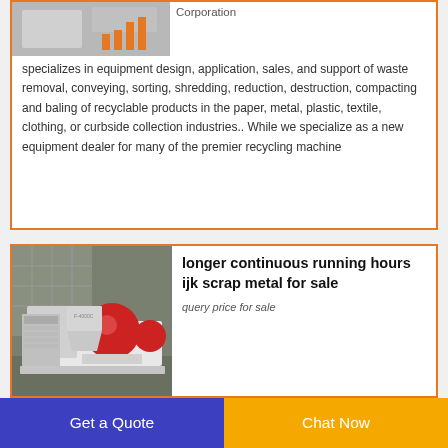[Figure (photo): Industrial recycling/shredding machine equipment photo, partially visible at top of card]
Corporation specializes in equipment design, application, sales, and support of waste removal, conveying, sorting, shredding, reduction, destruction, compacting and baling of recyclable products in the paper, metal, plastic, textile, clothing, or curbside collection industries.. While we specialize as a new equipment dealer for many of the premier recycling machine
[Figure (photo): Industrial scrap metal shredding/granulating machine with red components on white base, shown in warehouse setting]
longer continuous running hours ijk scrap metal for sale
query price for sale
Get a Quote
Chat Now